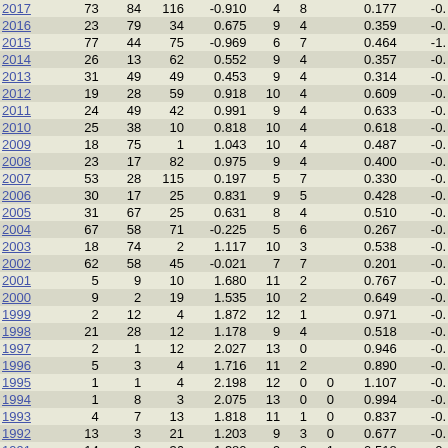| Year |  |  |  |  |  |  |  |  |  |
| --- | --- | --- | --- | --- | --- | --- | --- | --- | --- |
| 2017 | 73 | 84 | 116 | -0.910 | 4 | 8 |  | 0.177 | -0. |
| 2016 | 23 | 79 | 34 | 0.675 | 9 | 4 |  | 0.359 | -0. |
| 2015 | 77 | 44 | 75 | -0.969 | 6 | 7 |  | 0.464 | -1. |
| 2014 | 26 | 13 | 62 | 0.552 | 9 | 4 |  | 0.357 | -0. |
| 2013 | 31 | 49 | 49 | 0.453 | 9 | 4 |  | 0.314 | -0. |
| 2012 | 19 | 28 | 59 | 0.918 | 10 | 4 |  | 0.609 | -0. |
| 2011 | 24 | 49 | 42 | 0.991 | 9 | 4 |  | 0.633 | -0. |
| 2010 | 25 | 38 | 10 | 0.818 | 10 | 4 |  | 0.618 | -0. |
| 2009 | 18 | 75 | 1 | 1.043 | 10 | 4 |  | 0.487 | -0. |
| 2008 | 23 | 17 | 82 | 0.975 | 9 | 4 |  | 0.400 | -0. |
| 2007 | 53 | 28 | 115 | 0.197 | 5 | 7 |  | 0.330 | -0. |
| 2006 | 30 | 17 | 25 | 0.831 | 9 | 5 |  | 0.428 | -0. |
| 2005 | 31 | 67 | 25 | 0.631 | 8 | 4 |  | 0.510 | -0. |
| 2004 | 67 | 58 | 71 | -0.225 | 5 | 6 |  | 0.267 | -0. |
| 2003 | 18 | 74 | 2 | 1.117 | 10 | 3 |  | 0.538 | -0. |
| 2002 | 62 | 58 | 45 | -0.021 | 7 | 7 |  | 0.201 | -0. |
| 2001 | 5 | 9 | 10 | 1.680 | 11 | 2 |  | 0.767 | -0. |
| 2000 | 9 | 2 | 19 | 1.535 | 10 | 2 |  | 0.649 | -0. |
| 1999 | 2 | 12 | 4 | 1.872 | 12 | 1 |  | 0.971 | -0. |
| 1998 | 21 | 28 | 12 | 1.178 | 9 | 4 |  | 0.518 | -0. |
| 1997 | 2 | 1 | 12 | 2.027 | 13 | 0 |  | 0.946 | -0. |
| 1996 | 5 | 3 | 4 | 1.716 | 11 | 2 |  | 0.890 | -0. |
| 1995 | 1 | 1 | 4 | 2.198 | 12 | 0 | 0 | 1.107 | -0. |
| 1994 | 1 | 8 | 3 | 2.075 | 13 | 0 | 0 | 0.994 | -0. |
| 1993 | 4 | 7 | 13 | 1.818 | 11 | 1 | 0 | 0.837 | -0. |
| 1992 | 13 | 3 | 21 | 1.203 | 9 | 3 | 0 | 0.677 | -0. |
| 1991 | 14 | 3 | 36 | 1.380 | 9 | 2 | 1 | 0.518 | -0. |
| 1990 | 16 | 10 | 14 | 1.126 | 9 | 3 | 0 | 0.376 | -0. |
| 1989 | 13 | 2 | 21 | 1.379 | 10 | 2 | 0 | 0.496 | -0. |
| 1988 | 7 | 6 | 17 | 1.549 | 11 | 2 | 0 | 0.651 | -0. |